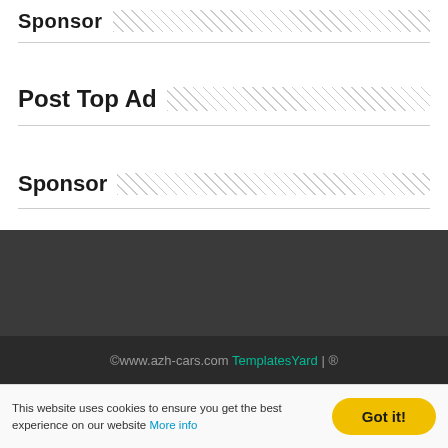Sponsor
Post Top Ad
Sponsor
©www.azh-cars.com TemplatesYard | ®
This website uses cookies to ensure you get the best experience on our website More info
Got it!